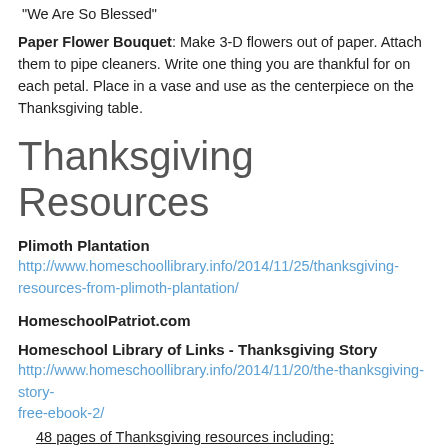"We Are So Blessed"
Paper Flower Bouquet: Make 3-D flowers out of paper. Attach them to pipe cleaners. Write one thing you are thankful for on each petal. Place in a vase and use as the centerpiece on the Thanksgiving table.
Thanksgiving Resources
Plimoth Plantation
http://www.homeschoollibrary.info/2014/11/25/thanksgiving-resources-from-plimoth-plantation/
HomeschoolPatriot.com
Homeschool Library of Links - Thanksgiving Story
http://www.homeschoollibrary.info/2014/11/20/the-thanksgiving-story-free-ebook-2/
48 pages of Thanksgiving resources including:
-The Pilgrims' Thanksgiving